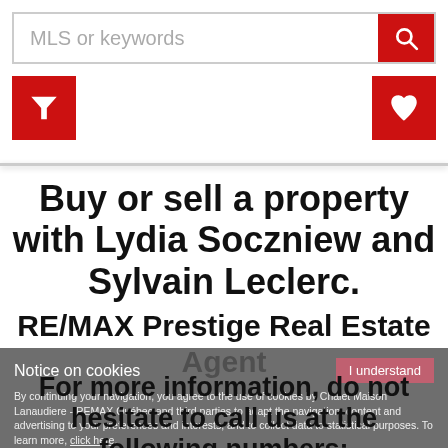[Figure (screenshot): Search bar with placeholder text 'MLS or keywords' and red search button with magnifying glass icon]
[Figure (screenshot): Red filter (funnel) icon button on the left and red heart icon button on the right]
Buy or sell a property with Lydia Soczniew and Sylvain Leclerc.
RE/MAX Prestige Real Estate Agent
Notice on cookies
By continuing your navigation, you agree to the use of cookies by Chalet Maison Lanaudiere - REMAX Quebec and third parties to adapt the navigation, content and advertising to your preferences and interests, and to collect data to statistical purposes. To learn more, click here.
For more information, do not hesitate to call us at the following numbers: